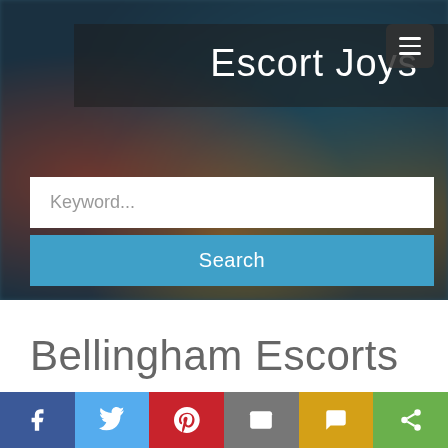[Figure (screenshot): Hero banner with blurred city street background]
Escort Joys
Keyword...
Search
Bellingham Escorts
[Figure (infographic): Social share bar with Facebook, Twitter, Pinterest, Email, SMS, and share icons]